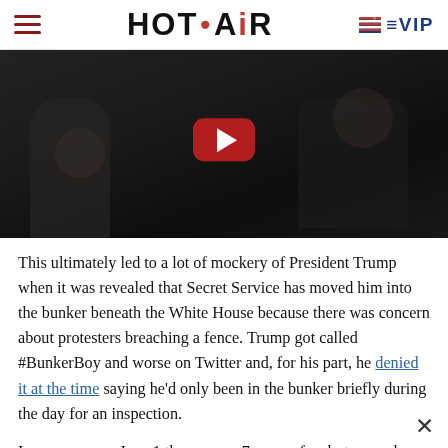HOT AIR | VIP
[Figure (screenshot): YouTube video thumbnail showing a dark scene, partially visible faces, with a red YouTube play button overlay in the center.]
This ultimately led to a lot of mockery of President Trump when it was revealed that Secret Service has moved him into the bunker beneath the White House because there was concern about protesters breaching a fence. Trump got called #BunkerBoy and worse on Twitter and, for his part, he denied it at the time saying he’d only been in the bunker briefly during the day for an inspection.
In any case, on June 1 there was a 7 pm curfew but around 6:15 pm police cleared out Lafayette Park. Some